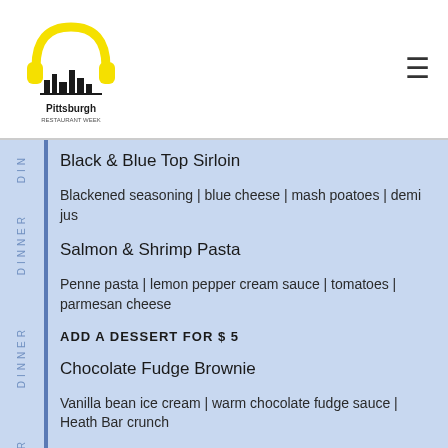[Figure (logo): Pittsburgh Restaurant Week logo with headphones and city skyline, yellow and black]
Black & Blue Top Sirloin
Blackened seasoning | blue cheese | mash poatoes | demi jus
Salmon & Shrimp Pasta
Penne pasta | lemon pepper cream sauce | tomatoes | parmesan cheese
ADD A DESSERT FOR $ 5
Chocolate Fudge Brownie
Vanilla bean ice cream | warm chocolate fudge sauce | Heath Bar crunch
Donut Holes
Chocolate + caramel sauces for dipping